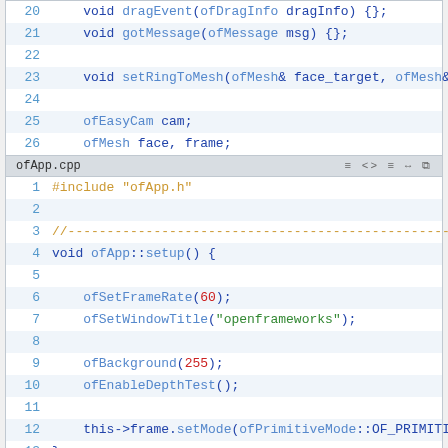[Figure (screenshot): Code editor snippet showing lines 20-27 of a C++ header file with void dragEvent, gotMessage, setRingToMesh, ofEasyCam, ofMesh declarations]
[Figure (screenshot): Code editor showing ofApp.cpp lines 1-19 including #include, setup() and update() function bodies with openFrameworks API calls]